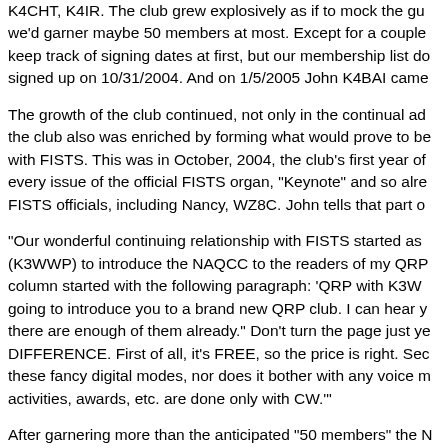K4CHT, K4IR. The club grew explosively as if to mock the gu we'd garner maybe 50 members at most. Except for a couple keep track of signing dates at first, but our membership list d signed up on 10/31/2004. And on 1/5/2005 John K4BAI came
The growth of the club continued, not only in the continual ad the club also was enriched by forming what would prove to be with FISTS. This was in October, 2004, the club's first year of every issue of the official FISTS organ, "Keynote" and so alre FISTS officials, including Nancy, WZ8C. John tells that part o
"Our wonderful continuing relationship with FISTS started as (K3WWP) to introduce the NAQCC to the readers of my QRF column started with the following paragraph: 'QRP with K3W going to introduce you to a brand new QRP club. I can hear y there are enough of them already." Don't turn the page just ye DIFFERENCE. First of all, it's FREE, so the price is right. Sec these fancy digital modes, nor does it bother with any voice m activities, awards, etc. are done only with CW.'"
After garnering more than the anticipated "50 members" the N fide club. But now what. One thing we knew for sure, we cou happen. John and I put on our "thinking caps" (for whatever t needed regular monthly sprints, and other activities to garner into the club.